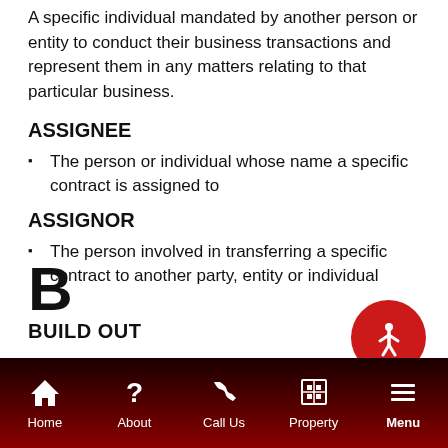A specific individual mandated by another person or entity to conduct their business transactions and represent them in any matters relating to that particular business.
ASSIGNEE
The person or individual whose name a specific contract is assigned to
ASSIGNOR
The person involved in transferring a specific contract to another party, entity or individual
B
BUILD OUT
Home  About  Call Us  Property  Menu